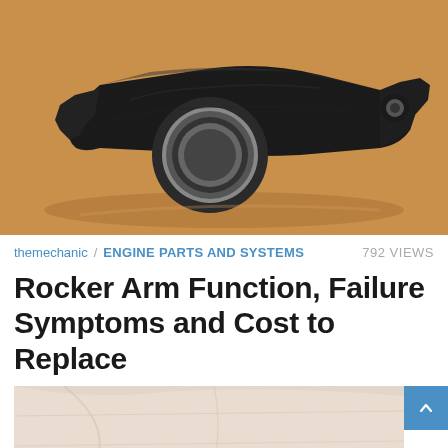[Figure (photo): A black metal rocker arm engine component resting on a wooden surface, showing the circular bearing hole in the center.]
themechanic / ENGINE PARTS AND SYSTEMS  792 VIEWS
Rocker Arm Function, Failure Symptoms and Cost to Replace
[Figure (photo): Close-up photo of a rocker arm component on a light fabric background.]